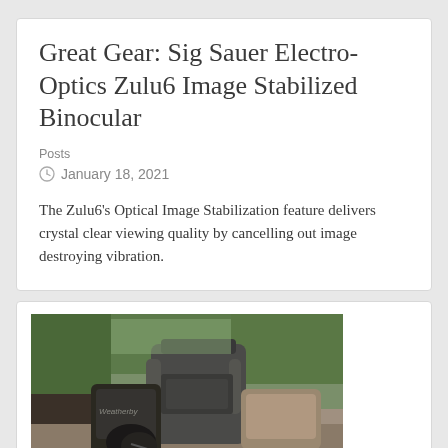Great Gear: Sig Sauer Electro-Optics Zulu6 Image Stabilized Binocular
Posts
January 18, 2021
The Zulu6's Optical Image Stabilization feature delivers crystal clear viewing quality by cancelling out image destroying vibration.
[Figure (photo): Outdoor photo showing hunting/outdoor gear including a backpack and binoculars placed on a bench or wooden surface, with trees and outdoor environment in the background.]